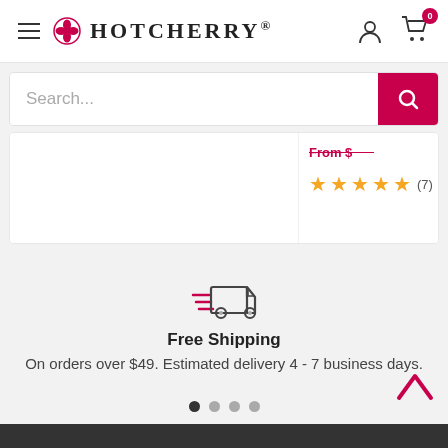HotCherry® — Navigation header with hamburger menu, logo, user icon, and cart (0 items)
Search...
[Figure (screenshot): Partial product card showing a price (partially visible, strikethrough in pink) and star rating: 5 stars (7 reviews)]
[Figure (illustration): Delivery truck icon with speed lines, representing fast shipping]
Free Shipping
On orders over $49. Estimated delivery 4 - 7 business days.
Dark footer bar at bottom of page